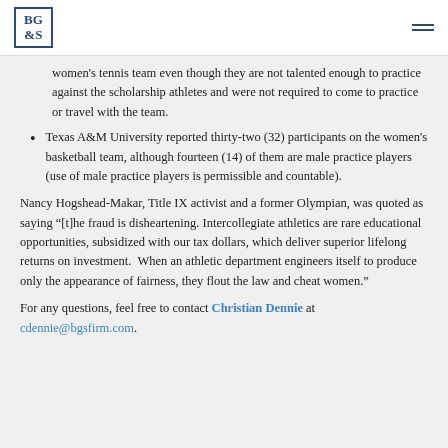BG&S logo and navigation
women's tennis team even though they are not talented enough to practice against the scholarship athletes and were not required to come to practice or travel with the team.
Texas A&M University reported thirty-two (32) participants on the women's basketball team, although fourteen (14) of them are male practice players (use of male practice players is permissible and countable).
Nancy Hogshead-Makar, Title IX activist and a former Olympian, was quoted as saying “[t]he fraud is disheartening. Intercollegiate athletics are rare educational opportunities, subsidized with our tax dollars, which deliver superior lifelong returns on investment.  When an athletic department engineers itself to produce only the appearance of fairness, they flout the law and cheat women.”
For any questions, feel free to contact Christian Dennie at cdennie@bgsfirm.com.